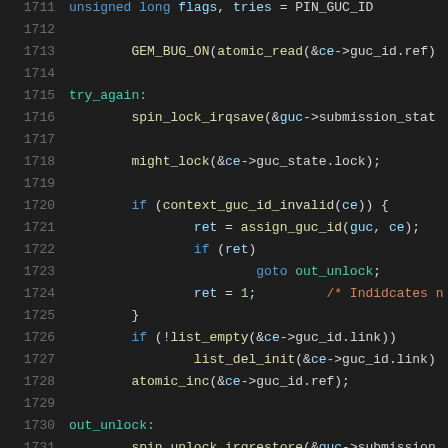[Figure (screenshot): Source code listing showing lines 1711-1731 of a kernel/driver C file with syntax highlighting. Dark background (#1e1e1e) with colored tokens. Line numbers in gray on the left. Code includes: unsigned long flags/tries declaration, GEM_BUG_ON call, try_again label, spin_lock_irqsave, might_lock, context_guc_id_invalid check, assign_guc_id, goto out_unlock, ret=1 with comment, list_empty/list_del_init, atomic_inc, out_unlock label, spin_unlock_irqrestore.]